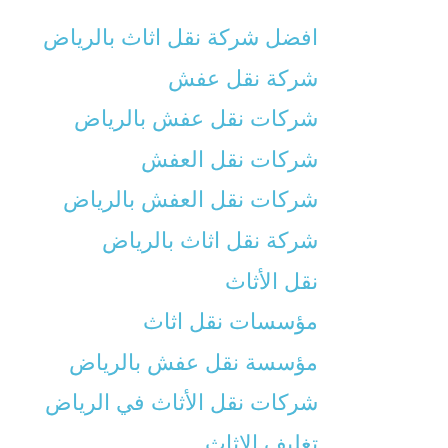افضل شركة نقل اثاث بالرياض
شركة نقل عفش
شركات نقل عفش بالرياض
شركات نقل العفش
شركات نقل العفش بالرياض
شركة نقل اثاث بالرياض
نقل الأثاث
مؤسسات نقل اثاث
مؤسسة نقل عفش بالرياض
شركات نقل الأثاث في الرياض
تغليف الاثاث